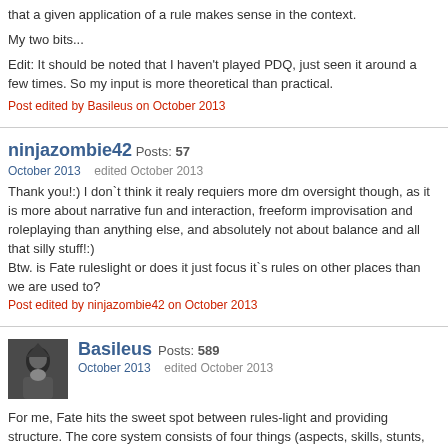that a given application of a rule makes sense in the context.
My two bits...
Edit: It should be noted that I haven't played PDQ, just seen it around a few times. So my input is more theoretical than practical.
Post edited by Basileus on October 2013
ninjazombie42 Posts: 57
October 2013   edited October 2013
Thank you!:) I don`t think it realy requiers more dm oversight though, as it is more about narrative fun and interaction, freeform improvisation and roleplaying than anything else, and absolutely not about balance and all that silly stuff!:)
Btw. is Fate ruleslight or does it just focus it`s rules on other places than we are used to?
Post edited by ninjazombie42 on October 2013
Basileus Posts: 589
October 2013   edited October 2013
For me, Fate hits the sweet spot between rules-light and providing structure. The core system consists of four things (aspects, skills, stunts, and stress)